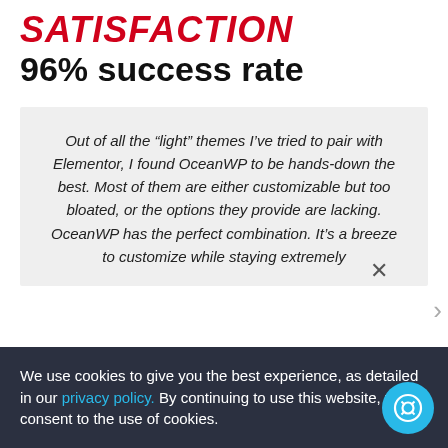SATISFACTION
96% success rate
Out of all the “light” themes I’ve tried to pair with Elementor, I found OceanWP to be hands-down the best. Most of them are either customizable but too bloated, or the options they provide are lacking. OceanWP has the perfect combination. It’s a breeze to customize while staying extremely ... nsive ... for
We use cookies to give you the best experience, as detailed in our privacy policy. By continuing to use this website, you consent to the use of cookies.